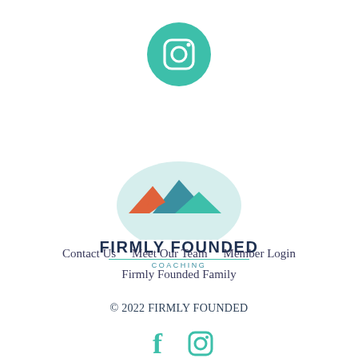[Figure (logo): Teal circular Instagram icon button at top center of page]
[Figure (logo): Firmly Founded Coaching logo with mountain peaks (orange and teal) over a light teal semicircle, with bold dark navy text 'FIRMLY FOUNDED' and teal 'COACHING' below]
Contact Us    Meet Our Team    Member Login
Firmly Founded Family
© 2022 FIRMLY FOUNDED
[Figure (logo): Facebook and Instagram social media icons in teal at bottom center]